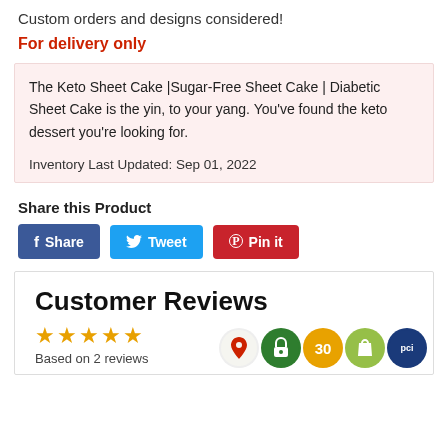Custom orders and designs considered!
For delivery only
The Keto Sheet Cake |Sugar-Free Sheet Cake | Diabetic Sheet Cake is the yin, to your yang. You've found the keto dessert you're looking for.

Inventory Last Updated: Sep 01, 2022
Share this Product
Share | Tweet | Pin it
Customer Reviews
★★★★★
Based on 2 reviews